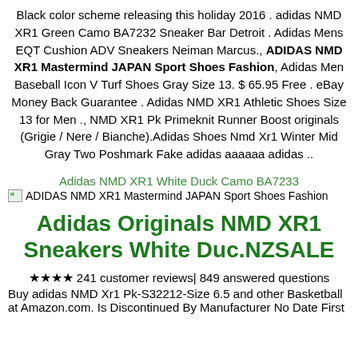Black color scheme releasing this holiday 2016 . adidas NMD XR1 Green Camo BA7232 Sneaker Bar Detroit . Adidas Mens EQT Cushion ADV Sneakers Neiman Marcus., ADIDAS NMD XR1 Mastermind JAPAN Sport Shoes Fashion, Adidas Men Baseball Icon V Turf Shoes Gray Size 13. $ 65.95 Free . eBay Money Back Guarantee . Adidas NMD XR1 Athletic Shoes Size 13 for Men ., NMD XR1 Pk Primeknit Runner Boost originals (Grigie / Nere / Bianche).Adidas Shoes Nmd Xr1 Winter Mid Gray Two Poshmark Fake adidas aaaaaa adidas ..
Adidas NMD XR1 White Duck Camo BA7233
[Figure (other): Image placeholder icon with alt text: ADIDAS NMD XR1 Mastermind JAPAN Sport Shoes Fashion]
Adidas Originals NMD XR1 Sneakers White Duc.NZSALE
★★★★ 241 customer reviews| 849 answered questions
Buy adidas NMD Xr1 Pk-S32212-Size 6.5 and other Basketball at Amazon.com. Is Discontinued By Manufacturer No Date First